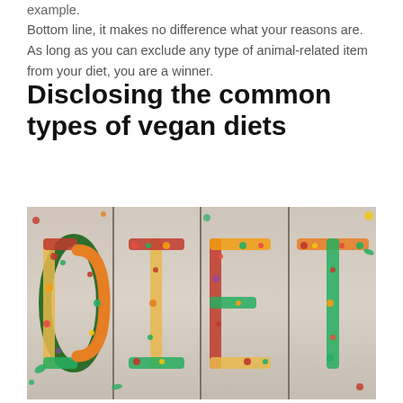example.
Bottom line, it makes no difference what your reasons are. As long as you can exclude any type of animal-related item from your diet, you are a winner.
Disclosing the common types of vegan diets
[Figure (photo): Photo of the word 'DIET' spelled out using colorful vegetables, seeds, berries and leaves arranged on a wooden surface divided into panels]